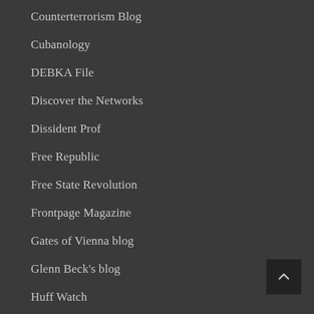Counterterrorism Blog
Cubanology
DEBKA File
Discover the Networks
Dissident Prof
Free Republic
Free State Revolution
Frontpage Magazine
Gates of Vienna blog
Glenn Beck's blog
Huff Watch
I Luv South Africa